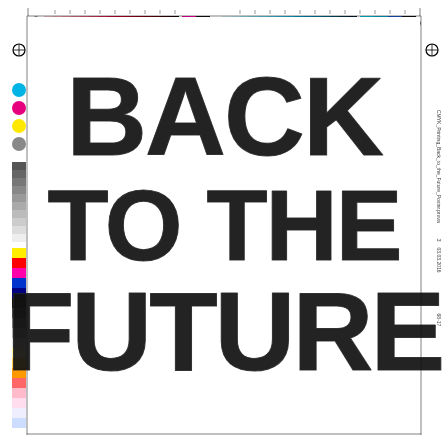[Figure (other): Printing registration/color calibration sheet with color bars at top, color swatches on left side, gray scale strip, registration marks, and large distressed bold text reading BACK TO THE FUTURE in the center. Right side contains vertical text metadata including date 03.03.2016 and identifier 68-17.]